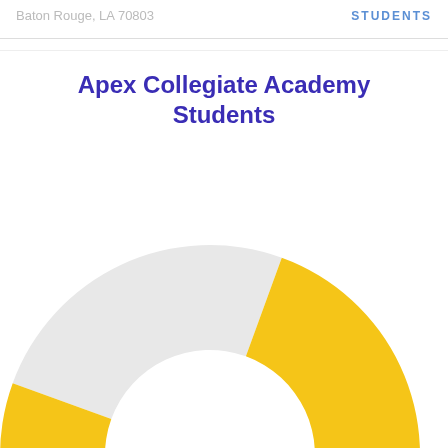Baton Rouge, LA 70803   STUDENTS
Apex Collegiate Academy Students
[Figure (donut-chart): Donut chart showing Apex Collegiate Academy Students breakdown. Large golden/yellow segment occupying roughly 75% of the chart, and a smaller light gray segment occupying roughly 25%. The chart is partially cropped at the bottom of the page.]